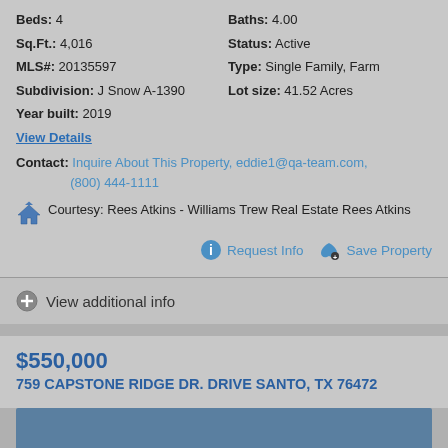Beds: 4
Baths: 4.00
Sq.Ft.: 4,016
Status: Active
MLS#: 20135597
Type: Single Family, Farm
Subdivision: J Snow A-1390
Lot size: 41.52 Acres
Year built: 2019
View Details
Contact: Inquire About This Property, eddie1@qa-team.com, (800) 444-1111
Courtesy: Rees Atkins - Williams Trew Real Estate Rees Atkins
Request Info
Save Property
View additional info
$550,000
759 CAPSTONE RIDGE DR. DRIVE SANTO, TX 76472
[Figure (photo): Property photo thumbnail, blue-gray color]